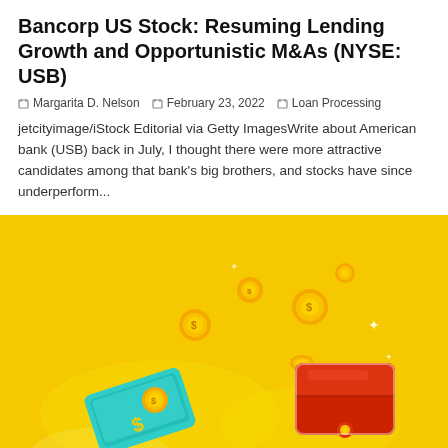Bancorp US Stock: Resuming Lending Growth and Opportunistic M&As (NYSE: USB)
Margarita D. Nelson  February 23, 2022  Loan Processing
jetcityimage/iStock Editorial via Getty ImagesWrite about American bank (USB) back in July, I thought there were more attractive candidates among that bank's big brothers, and stocks have since underperform...
[Figure (illustration): Yellow background illustration showing a smartphone with a dollar coin emerging from it, gold coins flying through the air, and a red wallet, representing mobile banking and money transfer.]